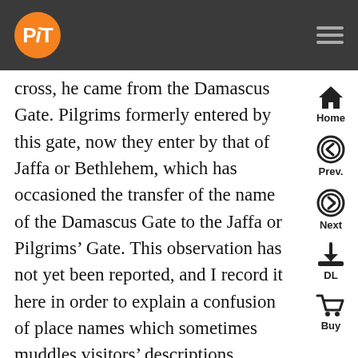PiT logo and navigation header
cross, he came from the Damascus Gate. Pilgrims formerly entered by this gate, now they enter by that of Jaffa or Bethlehem, which has occasioned the transfer of the name of the Damascus Gate to the Jaffa or Pilgrims’ Gate. This observation has not yet been reported, and I record it here in order to explain a confusion of place names which sometimes muddles visitors’ descriptions.
Now we come to details of the streets. The three principal ones are called:
Harat-Bab-el-Hamoud, the Street of the Gate of the Column: it crosses the city from north to south.